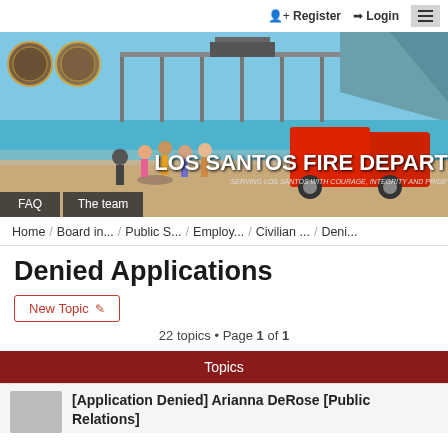Register   Login
[Figure (screenshot): Los Santos Fire Department banner image showing beach scene with red truck, pier in background, two circular emblems/logos on left, text 'LOS SANTOS FIRE DEPART' and tagline 'SERVING LOS SANTOS WITH COURAGE, INTEGRITY AND PRIDE']
FAQ   The team
Home / Board in... / Public S... / Employ... / Civilian ... / Deni...
Denied Applications
New Topic
22 topics • Page 1 of 1
Topics
[Application Denied] Arianna DeRose [Public Relations]